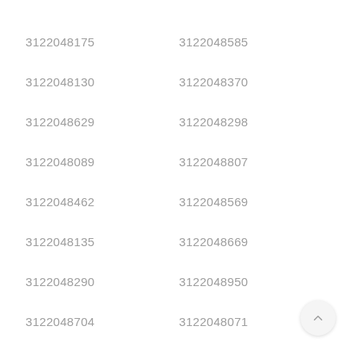3122048175   3122048585
3122048130   3122048370
3122048629   3122048298
3122048089   3122048807
3122048462   3122048569
3122048135   3122048669
3122048290   3122048950
3122048704   3122048071
3122048784   3122048232